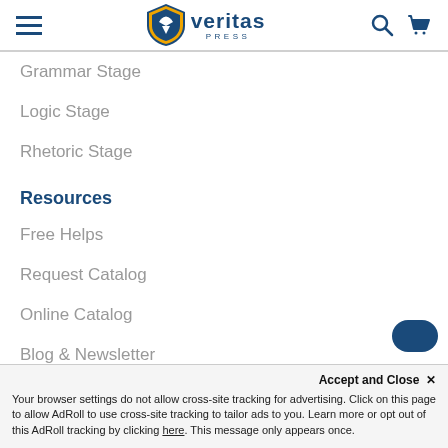Veritas Press navigation header with hamburger menu, logo, search and cart icons
Grammar Stage
Logic Stage
Rhetoric Stage
Resources
Free Helps
Request Catalog
Online Catalog
Blog & Newsletter
Announcements
Employment
Accept and Close ✕
Your browser settings do not allow cross-site tracking for advertising. Click on this page to allow AdRoll to use cross-site tracking to tailor ads to you. Learn more or opt out of this AdRoll tracking by clicking here. This message only appears once.